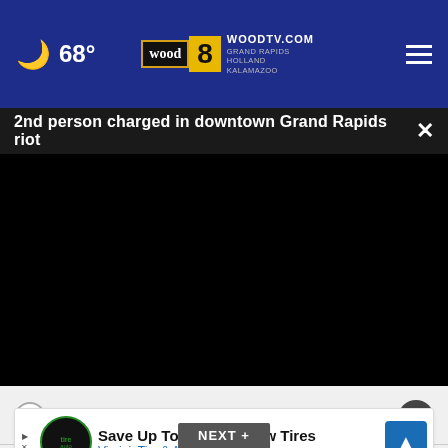68° WOODTV.COM GRAND RAPIDS HOLLAND KALAMAZOO
2nd person charged in downtown Grand Rapids riot
[Figure (screenshot): Black video player area]
Definitely would not
[Figure (infographic): Advertisement: Save Up To $110 On New Tires - Virginia Tire & Auto of Ashburn Fa.]
NEXT +